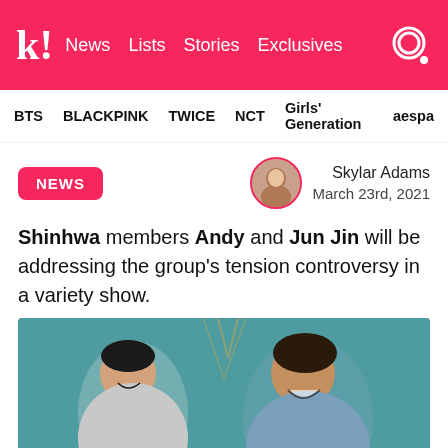k! News Lists Stories Exclusives
BTS BLACKPINK TWICE NCT Girls' Generation aespa
NEWS
Skylar Adams March 23rd, 2021
Shinhwa members Andy and Jun Jin will be addressing the group's tension controversy in a variety show.
[Figure (photo): Two men laughing and smiling at each other at what appears to be a press event with teal backdrop and partial text reading CIAL]